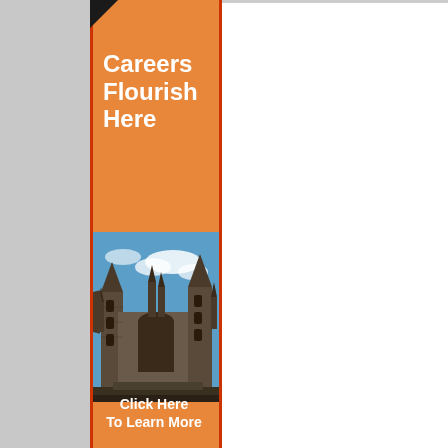Careers Flourish Here
[Figure (photo): Gothic stone cathedral or university building with spires and towers against a blue sky with clouds]
Click Here To Learn More